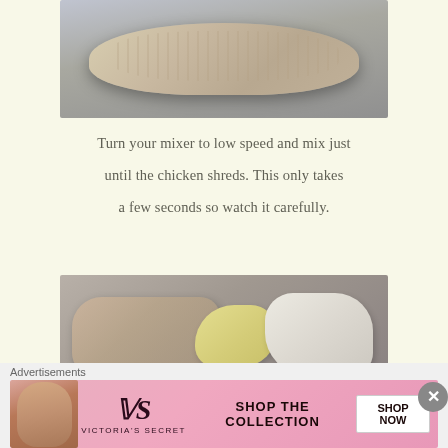[Figure (photo): Shredded chicken in a dark skillet/pan viewed from above, showing pulled chicken strands]
Turn your mixer to low speed and mix just until the chicken shreds. This only takes a few seconds so watch it carefully.
[Figure (photo): Shredded chicken in a stainless steel mixing bowl with yellow mustard/mayo blob and white cream/dressing blob added]
Advertisements
[Figure (photo): Victoria's Secret advertisement banner showing SHOP THE COLLECTION with SHOP NOW button]